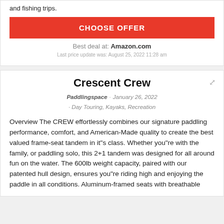and fishing trips.
CHOOSE OFFER
Best deal at: Amazon.com
Last price update was: August 25, 2022 11:28 am
Crescent Crew
Paddlingspace · January 26, 2022 · Day Touring, Kayaks, Recreation
Overview The CREW effortlessly combines our signature paddling performance, comfort, and American-Made quality to create the best valued frame-seat tandem in it"s class. Whether you"re with the family, or paddling solo, this 2+1 tandem was designed for all around fun on the water. The 600lb weight capacity, paired with our patented hull design, ensures you"re riding high and enjoying the paddle in all conditions. Aluminum-framed seats with breathable